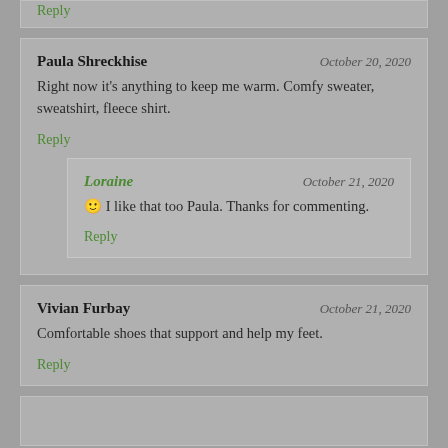Reply
Paula Shreckhise — October 20, 2020
Right now it's anything to keep me warm. Comfy sweater, sweatshirt, fleece shirt.
Reply
Loraine — October 21, 2020
🙂 I like that too Paula. Thanks for commenting.
Reply
Vivian Furbay — October 21, 2020
Comfortable shoes that support and help my feet.
Reply